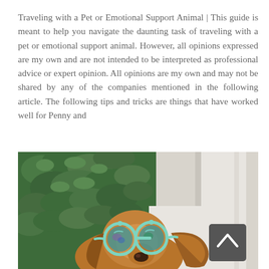Traveling with a Pet or Emotional Support Animal | This guide is meant to help you navigate the daunting task of traveling with a pet or emotional support animal. However, all opinions expressed are my own and are not intended to be interpreted as professional advice or expert opinion. All opinions are my own and may not be shared by any of the companies mentioned in the following article. The following tips and tricks are things that have worked well for Penny and
[Figure (photo): A dog wearing large round teal/mint-colored sunglasses, photographed outdoors in front of white columns with green foliage/bushes in the background. A dark grey scroll-to-top button with an upward arrow chevron is overlaid in the bottom-right corner of the image.]